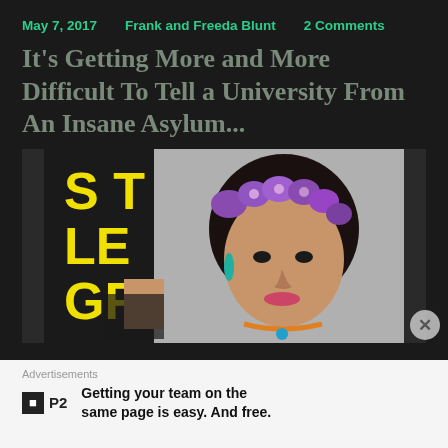May 7, 2017   Frank and Freeda Blunt   2 Comments
It's Getting More and More Difficult To Tell a University From An Insane Asylum...
[Figure (photo): Person with purple flower crown and colorful makeup, holding a yellow sign with letters 'STYLE' visible, on a grey background.]
Sad. We used to try and help sick people, rather than coddle them and pretend that they are normal and have legitimate thoughts and lifestyles... Read More
Advertisements
Getting your team on the same page is easy. And free.